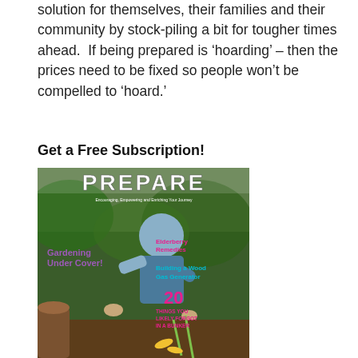solution for themselves, their families and their community by stock-piling a bit for tougher times ahead.  If being prepared is 'hoarding' – then the prices need to be fixed so people won't be compelled to 'hoard.'
Get a Free Subscription!
[Figure (photo): Magazine cover of 'PREPARE' magazine showing a person gardening outdoors with text overlays including 'Gardening Under Cover!', 'Elderberry Remedies', 'Building a Wood Gas Generator', and '20 Things You Likely Forgot in a Bunker']